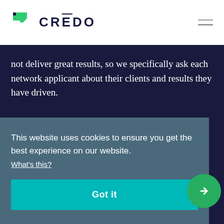CREDO
not deliver great results, so we specifically ask each network applicant about their clients and results they have driven.
We ask every applicant for:
Two projects for each marketing channel they offer
This website uses cookies to ensure you get the best experience on our website. What's this?
Got it